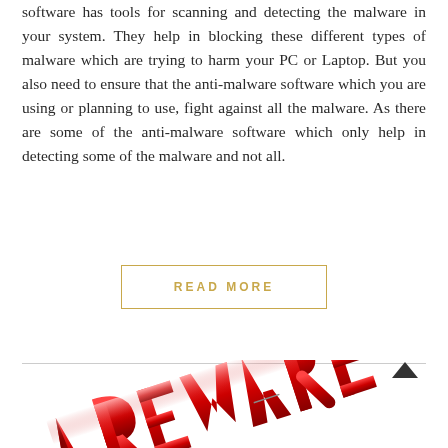software has tools for scanning and detecting the malware in your system. They help in blocking these different types of malware which are trying to harm your PC or Laptop. But you also need to ensure that the anti-malware software which you are using or planning to use, fight against all the malware. As there are some of the anti-malware software which only help in detecting some of the malware and not all.
READ MORE
[Figure (illustration): 3D red metallic text spelling 'ADWARE' or 'AREWARE' arranged at an angle, partially visible at the bottom of the page]